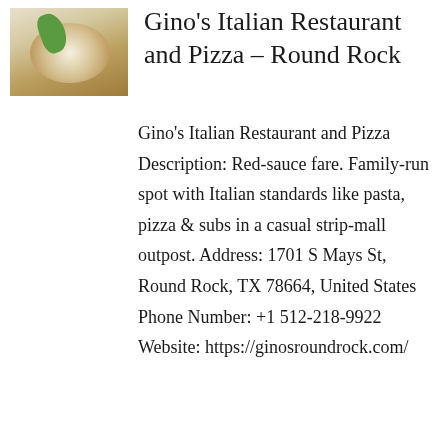[Figure (photo): Photo of Italian food dish — pasta with vegetables and basil leaves on a white plate]
Gino's Italian Restaurant and Pizza – Round Rock
Gino's Italian Restaurant and Pizza Description: Red-sauce fare. Family-run spot with Italian standards like pasta, pizza & subs in a casual strip-mall outpost. Address: 1701 S Mays St, Round Rock, TX 78664, United States Phone Number: +1 512-218-9922 Website: https://ginosroundrock.com/